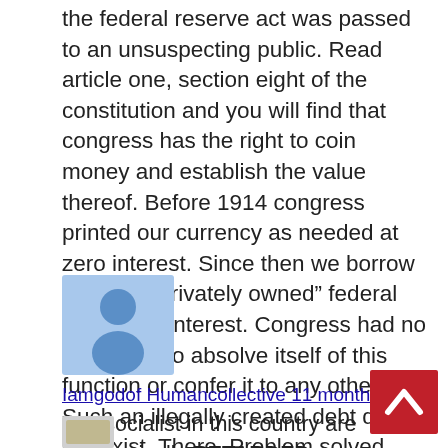the federal reserve act was passed to an unsuspecting public. Read article one, section eight of the constitution and you will find that congress has the right to coin money and establish the value thereof. Before 1914 congress printed our currency as needed at zero interest. Since then we borrow from the “privately owned” federal reserve at interest. Congress had no legal right to absolve itself of this function or confer it to any other. Such an illegally created debt does not exist. There, Problem solved.
[Figure (illustration): User avatar icon: blue silhouette of a person on a light blue background]
Iamgodof Humancollective 11 months ago
You socialist in this country are economically RETARDED.
[Figure (illustration): Small partially visible user avatar at bottom left]
[Figure (other): Red scroll-to-top button with white upward chevron arrow]